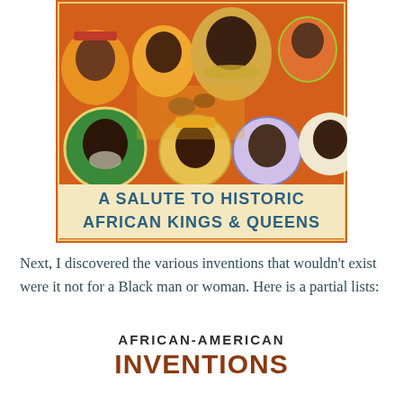[Figure (illustration): Illustrated poster titled 'A Salute to Historic African Kings & Queens' on an orange background, featuring portraits of multiple African historical figures arranged in a collage style with decorative crowns and regalia.]
Next, I discovered the various inventions that wouldn't exist were it not for a Black man or woman. Here is a partial lists:
[Figure (infographic): Graphic heading reading 'AFRICAN-AMERICAN INVENTIONS' with icons of inventions partially visible at the bottom.]